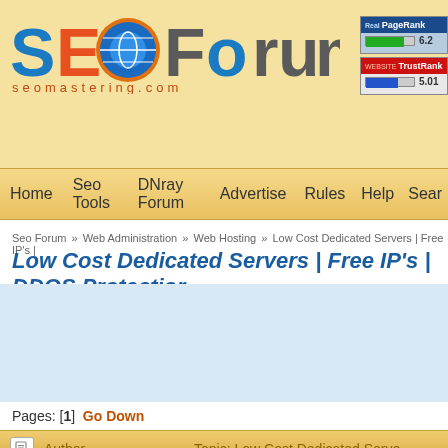[Figure (logo): SEO Forum logo with globe icon and seomastering.com tagline]
[Figure (other): Real PageRank 6.2 and Website TrustRank 5.01 badges]
Home  Seo Tools  DNray Forum  Advertise  Rules  Help  Sear
Seo Forum » Web Administration » Web Hosting » Low Cost Dedicated Servers | Free IP's |
Low Cost Dedicated Servers | Free IP's | DDOS Protectior
[Figure (other): Advertisement banner area (light blue background)]
Pages: [1]  Go Down
Author   Topic: Low Cost Dedicated Serve
pocomaster
Trade Count: (0)
Sr. Member
Low Cost Dedicated Servers | Free ... Monthly Billing!
« on: 03-27-2021, 06:05:55 »